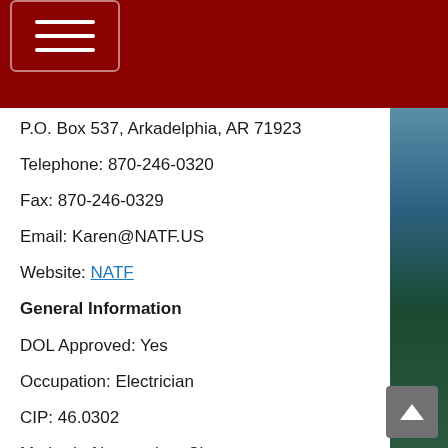[Figure (other): Dark red navigation header bar with hamburger menu icon button]
P.O. Box 537, Arkadelphia, AR 71923
Telephone: 870-246-0320
Fax: 870-246-0329
Email: Karen@NATF.US
Website: NATF
General Information
DOL Approved: Yes
Occupation: Electrician
CIP: 46.0302
Method of instruction: Classroom
Length: 144 Classroom hours per year - total 576
Cost: Tuition-$4,180 total; $522.50 per semester, Books-$500.00